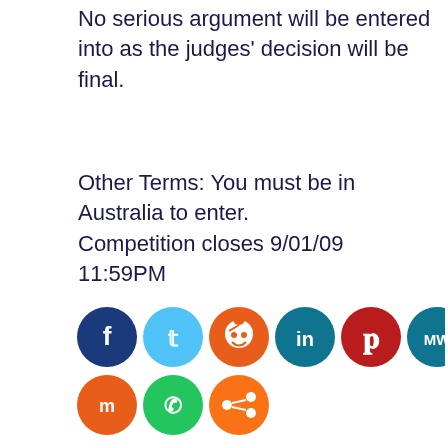No serious argument will be entered into as the judges' decision will be final.
Other Terms: You must be in Australia to enter. Competition closes 9/01/09 11:59PM
[Figure (infographic): Social media sharing icons: Facebook (dark blue), Twitter (light blue), Reddit (orange), LinkedIn (teal), Pinterest (dark red), MeWe (teal), Mix (orange), WhatsApp (green), Share (orange)]
AUSTRALIA , BLOGGING , GAMES , HUMAN RIGHTS , HUMOUR , INTERNET , POLITICS , SATIRE